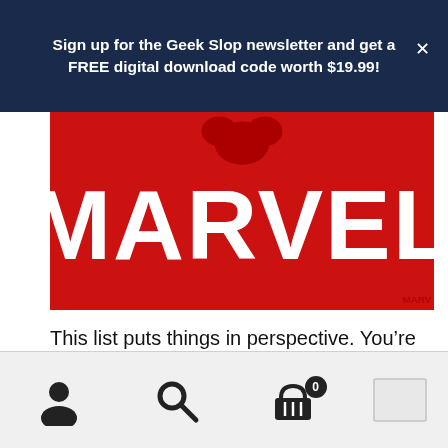Sign up for the Geek Slop newsletter and get a FREE digital download code worth $19.99!
[Figure (photo): Marvel logo in white text on a red background with Spider-Man figure at the top]
This list puts things in perspective. You're never gonna see every single Marvel show. There's simply not enough hours in the day.
Geeks gotta be in the know. Sign up for the Geek Slop newsletter and get a FREE digital download code worth $19.99! Dismiss
Navigation bar with user, search, and cart icons